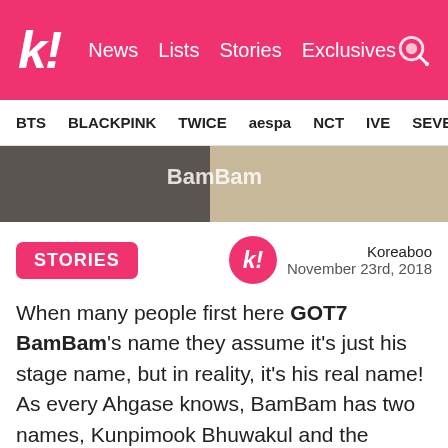k! News Lists Stories Exclusives
BTS BLACKPINK TWICE aespa NCT IVE SEVE
[Figure (photo): Partial image of BamBam with text overlay]
STORIES
Koreaboo
November 23rd, 2018
When many people first here GOT7 BamBam's name they assume it's just his stage name, but in reality, it's his real name! As every Ahgase knows, BamBam has two names, Kunpimook Bhuwakul and the shorter BamBam. This isn't all that uncommon in Thailand as parents generally give their children two names because the names are always so long.